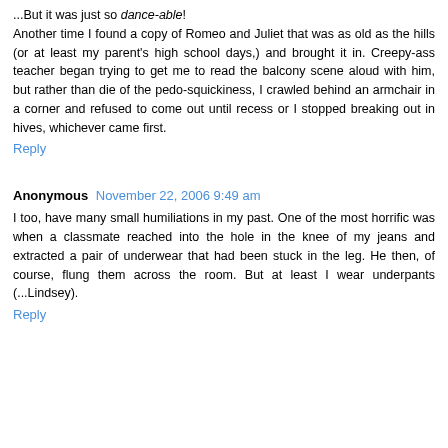...But it was just so dance-able! Another time I found a copy of Romeo and Juliet that was as old as the hills (or at least my parent's high school days,) and brought it in. Creepy-ass teacher began trying to get me to read the balcony scene aloud with him, but rather than die of the pedo-squickiness, I crawled behind an armchair in a corner and refused to come out until recess or I stopped breaking out in hives, whichever came first.
Reply
Anonymous November 22, 2006 9:49 am
I too, have many small humiliations in my past. One of the most horrific was when a classmate reached into the hole in the knee of my jeans and extracted a pair of underwear that had been stuck in the leg. He then, of course, flung them across the room. But at least I wear underpants (...Lindsey).
Reply